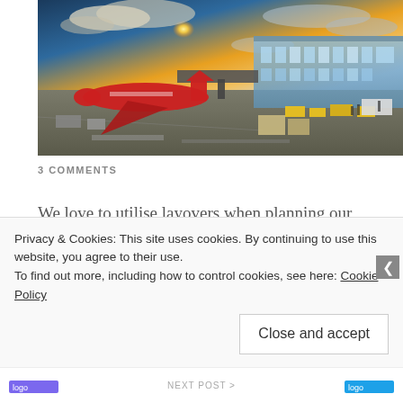[Figure (photo): Aerial view of an airport tarmac at sunset/sunrise. A red aircraft is parked at a jet bridge. The terminal building with glass facade is visible on the right, with yellow ground vehicles. Sky shows dramatic clouds with golden sunlight.]
3 COMMENTS
We love to utilise layovers when planning our trips. When possible we will plan our travel route with stopovers, ensuring there is enough time to leave the airport and possibly stay a night. It is a
Privacy & Cookies: This site uses cookies. By continuing to use this website, you agree to their use.
To find out more, including how to control cookies, see here: Cookie Policy
Close and accept